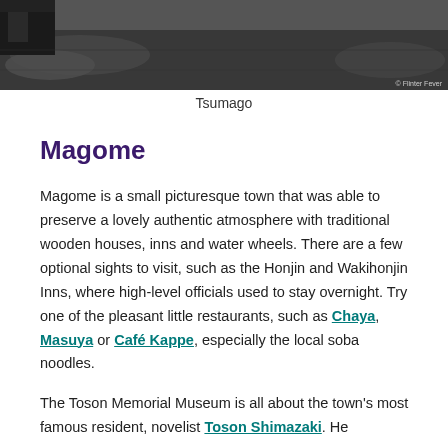[Figure (photo): Overhead/street-level photo of Tsumago, showing dark asphalt road and traditional wooden structures with gravel, photographed by Flinter Fever]
Tsumago
Magome
Magome is a small picturesque town that was able to preserve a lovely authentic atmosphere with traditional wooden houses, inns and water wheels. There are a few optional sights to visit, such as the Honjin and Wakihonjin Inns, where high-level officials used to stay overnight. Try one of the pleasant little restaurants, such as Chaya, Masuya or Café Kappe, especially the local soba noodles.
The Toson Memorial Museum is all about the town's most famous resident, novelist Toson Shimazaki. He